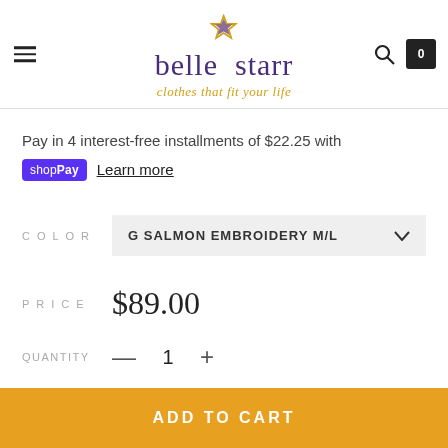belle starr — clothes that fit your life
Pay in 4 interest-free installments of $22.25 with shop Pay Learn more
COLOR  G SALMON EMBROIDERY M/L
PRICE  $89.00
QUANTITY  — 1 +
ADD TO CART